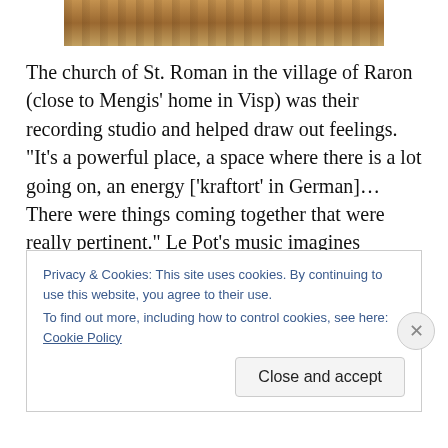[Figure (photo): Partial view of the interior or exterior of a church building, showing wooden or stone architectural elements in warm brown tones.]
The church of St. Roman in the village of Raron (close to Mengis' home in Visp) was their recording studio and helped draw out feelings. “It’s a powerful place, a space where there is a lot going on, an energy [‘kraftort’ in German]…There were things coming together that were really pertinent.” Le Pot’s music imagines landscapes that are barren or alien. They use titles such as ‘Hamada’ and ‘Badlands’ meaning dry, eroded earth which they envisage with electric guitar scrapes, lonely trumpet notes and
Privacy & Cookies: This site uses cookies. By continuing to use this website, you agree to their use.
To find out more, including how to control cookies, see here: Cookie Policy
Close and accept